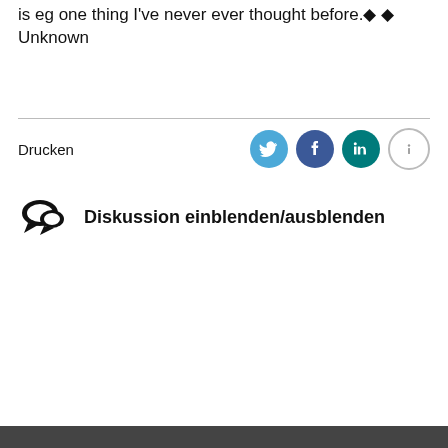is eg one thing I've never ever thought before.◆ ◆ Unknown
Drucken
[Figure (infographic): Social sharing icons: Twitter (blue circle), Facebook (dark blue circle), LinkedIn (teal circle), Info (grey circle with i)]
Diskussion einblenden/ausblenden